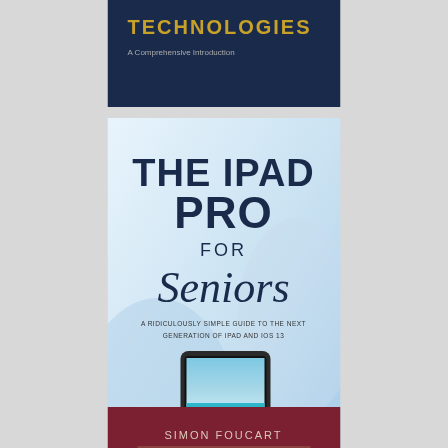[Figure (illustration): Top book cover showing 'TECHNOLOGIES - A Comprehensive Introduction' on a dark navy blue background with gold/yellow title text]
[Figure (illustration): Middle book cover: 'THE IPAD PRO FOR Seniors - A RIDICULOUSLY SIMPLE GUIDE TO THE NEXT GENERATION OF IPAD AND IOS 13' by BRIAN NORMAN. White/light blue background with large bold dark blue text for title, script font for 'Seniors', and image of an iPad showing a beach scene.]
[Figure (illustration): Bottom book cover: Dark red/maroon background. Author: SIMON FOUCART. Title in tan/gold serif font: 'Mathematical Pictures at a Data Science Exhibition']